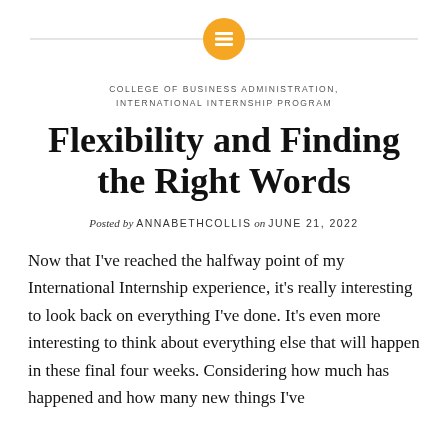[Figure (logo): Orange circle icon with a document/lines symbol, flanked by horizontal gray lines]
COLLEGE OF BUSINESS ADMINISTRATION, INTERNATIONAL INTERNSHIP PROGRAM
Flexibility and Finding the Right Words
Posted by ANNABETHCOLLIS on JUNE 21, 2022
Now that I've reached the halfway point of my International Internship experience, it's really interesting to look back on everything I've done. It's even more interesting to think about everything else that will happen in these final four weeks. Considering how much has happened and how many new things I've